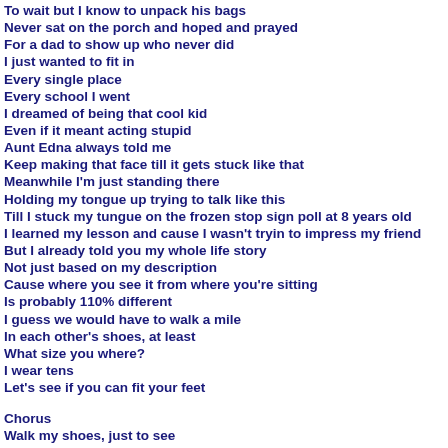To wait but I know to unpack his bags
Never sat on the porch and hoped and prayed
For a dad to show up who never did
I just wanted to fit in
Every single place
Every school I went
I dreamed of being that cool kid
Even if it meant acting stupid
Aunt Edna always told me
Keep making that face till it gets stuck like that
Meanwhile I'm just standing there
Holding my tongue up trying to talk like this
Till I stuck my tungue on the frozen stop sign poll at 8 years old
I learned my lesson and cause I wasn't tryin to impress my friend
But I already told you my whole life story
Not just based on my description
Cause where you see it from where you're sitting
Is probably 110% different
I guess we would have to walk a mile
In each other's shoes, at least
What size you where?
I wear tens
Let's see if you can fit your feet
Chorus
Walk my shoes, just to see
What it's like, to be me
All be you, let's trade shoes
Just to see what it'd be like to